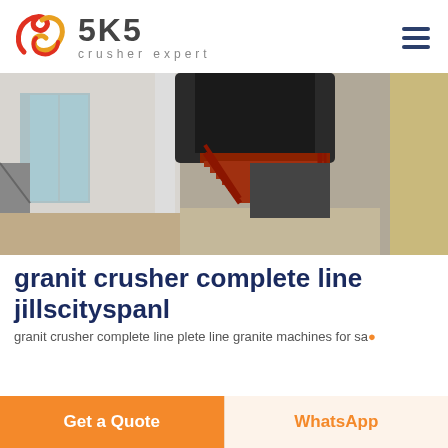SKS crusher expert
[Figure (photo): Industrial crusher machine with red metal staircase/stairs leading up to it, inside a large industrial building with glass doors and windows visible in the background.]
granit crusher complete line jillscityspanl
granit crusher complete line plete line granite machines for sa...